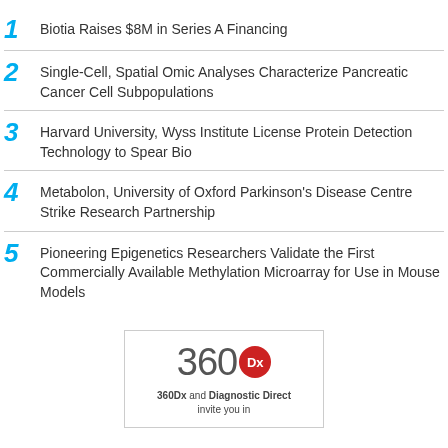1 Biotia Raises $8M in Series A Financing
2 Single-Cell, Spatial Omic Analyses Characterize Pancreatic Cancer Cell Subpopulations
3 Harvard University, Wyss Institute License Protein Detection Technology to Spear Bio
4 Metabolon, University of Oxford Parkinson's Disease Centre Strike Research Partnership
5 Pioneering Epigenetics Researchers Validate the First Commercially Available Methylation Microarray for Use in Mouse Models
[Figure (logo): 360Dx and Diagnostic Direct invite you in advertisement box with 360Dx logo — red circle with Dx text]